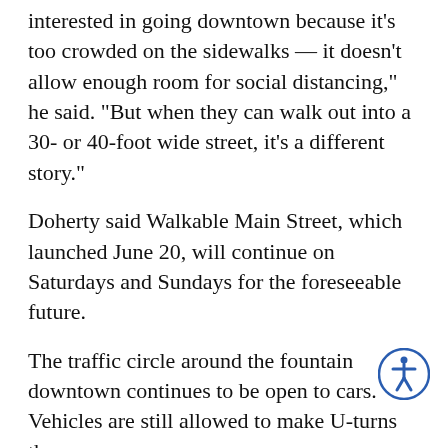interested in going downtown because it’s too crowded on the sidewalks — it doesn’t allow enough room for social distancing,” he said. “But when they can walk out into a 30- or 40-foot wide street, it’s a different story.”
Doherty said Walkable Main Street, which launched June 20, will continue on Saturdays and Sundays for the foreseeable future.
The traffic circle around the fountain downtown continues to be open to cars. Vehicles are still allowed to make U-turns there.
Find a map of Main Street closures and parking availability at www.edmondswa.gov.
Sara Bruestle: 425-339-3046; sbruestle@heraldne…; @sarabruestle